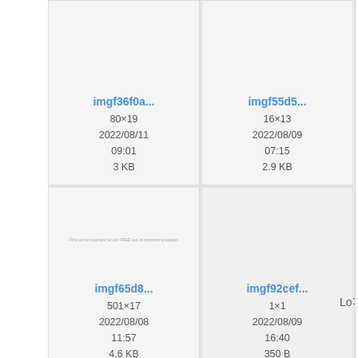[Figure (screenshot): Grid of image thumbnails with filenames, dimensions, dates, and file sizes. Row 1: imgf36f0a... (80×19, 2022/08/11 09:01, 3 KB), imgf55d5... (16×13, 2022/08/09 07:15, 2.9 KB), partial third item. Row 2: imgf65d8... (501×17, 2022/08/08 11:57, 4.6 KB), imgf92cef... (1×1, 2022/08/09 16:40, 350 B), partial third item with 'Lo'. Row 3: imgf764af... , imgf836a4..., partial third. Preview thumbnails shown for imgf65d8 (tiny text) and imgf764af (italic 'Reponse'), imgf836a4 (minus circle icon).]